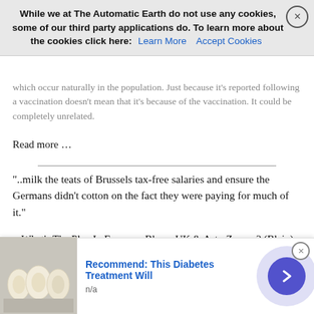While we at The Automatic Earth do not use any cookies, some of our third party applications do. To learn more about the cookies click here: Learn More  Accept Cookies
which occur naturally in the population. Just because it's reported following a vaccination doesn't mean that it's because of the vaccination. It could be completely unrelated.
Read more …
“..milk the teats of Brussels tax-free salaries and ensure the Germans didn’t cotton on the fact they were paying for much of it.”
What’s The Plan In Europe – Blame UK & AstraZeneca? (Blain)
What is going on in Europe? The political and economic options are limited, the outcomes predictable, and none of them are good. But don’t worry – Europe can always blame the UK and AstraZeneca. On the back of news of collapsing trade between Europe and the UK due to Brexit, I wish I could work out what’s going through the collective
[Figure (screenshot): Advertisement banner: Recommend: This Diabetes Treatment Will, with egg image and arrow button]